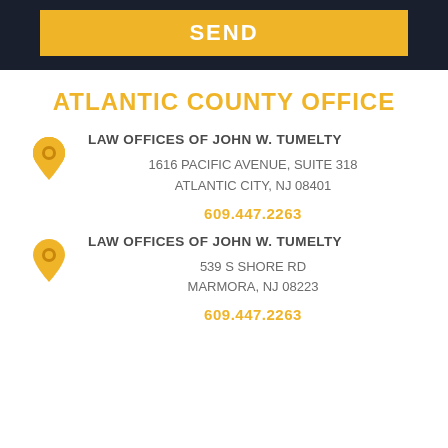SEND
ATLANTIC COUNTY OFFICE
LAW OFFICES OF JOHN W. TUMELTY
1616 PACIFIC AVENUE, SUITE 318
ATLANTIC CITY, NJ 08401
609.447.2263
LAW OFFICES OF JOHN W. TUMELTY
539 S SHORE RD
MARMORA, NJ 08223
609.447.2263